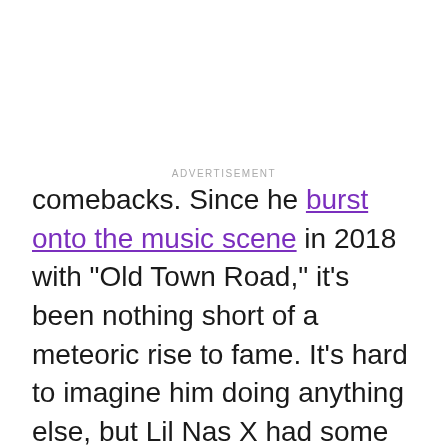ADVERTISEMENT
comebacks. Since he burst onto the music scene in 2018 with “Old Town Road,” it’s been nothing short of a meteoric rise to fame. It’s hard to imagine him doing anything else, but Lil Nas X had some unusual experiences that helped shape his quick-witted social media presence and ultimately make his public persona work. Keep reading to learn more about what Lil Nas X’s job was before he became famous.